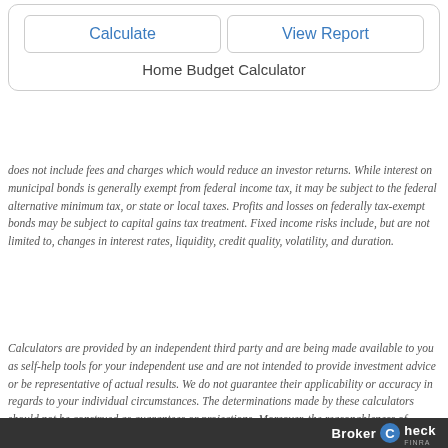[Figure (screenshot): Calculator widget with two buttons labeled 'Calculate' and 'View Report', and a label 'Home Budget Calculator' inside a rounded rectangle border.]
does not include fees and charges which would reduce an investor returns. While interest on municipal bonds is generally exempt from federal income tax, it may be subject to the federal alternative minimum tax, or state or local taxes. Profits and losses on federally tax-exempt bonds may be subject to capital gains tax treatment. Fixed income risks include, but are not limited to, changes in interest rates, liquidity, credit quality, volatility, and duration.
Calculators are provided by an independent third party and are being made available to you as self-help tools for your independent use and are not intended to provide investment advice or be representative of actual results. We do not guarantee their applicability or accuracy in regards to your individual circumstances. The determinations made by these calculators should not be construed as guarantees or projections. Moreover, the reasonableness of certain information may change over time because of changes in tax law, investment trends and your personal circumstances. The information contained here is based on current law and has been obtained from sources believed to be reliable, but we do not guarantee its accuracy. It is important th...
BrokerCheck FINRA